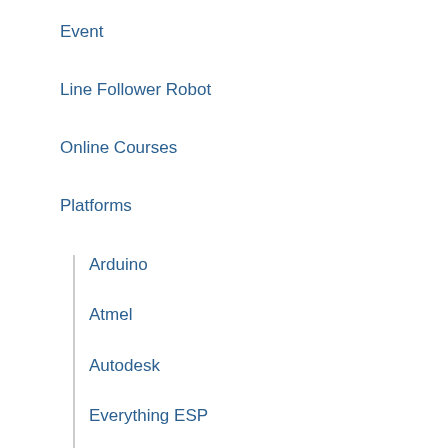Event
Line Follower Robot
Online Courses
Platforms
Arduino
Atmel
Autodesk
Everything ESP
Nordic Semiconductor
Nvidia
OpenCV
Raspberry Pi